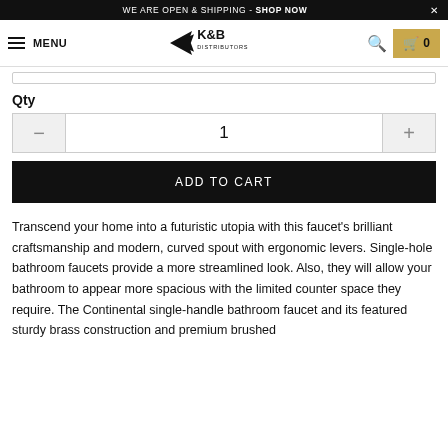WE ARE OPEN & SHIPPING - SHOP NOW
[Figure (logo): K&B Distributors logo with stylized arrow/plane graphic]
Qty
1
ADD TO CART
Transcend your home into a futuristic utopia with this faucet's brilliant craftsmanship and modern, curved spout with ergonomic levers. Single-hole bathroom faucets provide a more streamlined look. Also, they will allow your bathroom to appear more spacious with the limited counter space they require. The Continental single-handle bathroom faucet and its featured sturdy brass construction and premium brushed